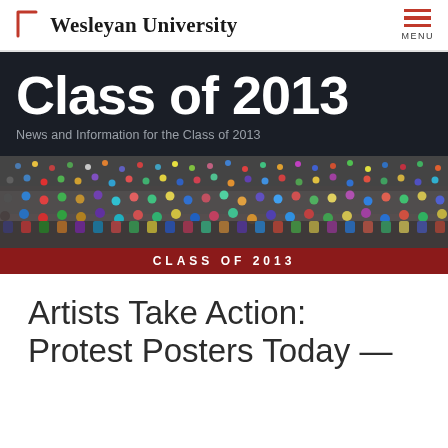Wesleyan University
Class of 2013
News and Information for the Class of 2013
[Figure (photo): Large crowd photo of students with 'CLASS OF 2013' caption banner at bottom]
Artists Take Action: Protest Posters Today —